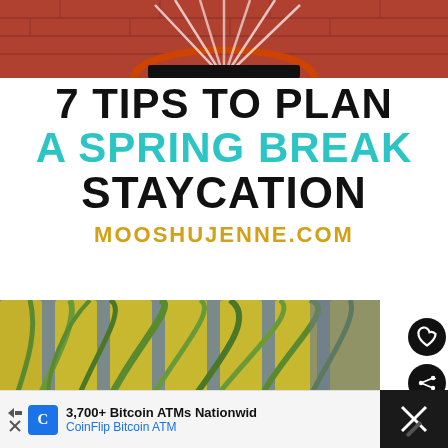[Figure (photo): Top portion of a basketball hoop/rim with red brick background, cropped at top of page]
7 TIPS TO PLAN A SPRING BREAK STAYCATION
MOOSHUJENNE.COM
[Figure (photo): Close-up of yellow wooden slats and green plant leaves (outdoor porch/deck scene)]
3,700+ Bitcoin ATMs Nationwid CoinFlip Bitcoin ATM